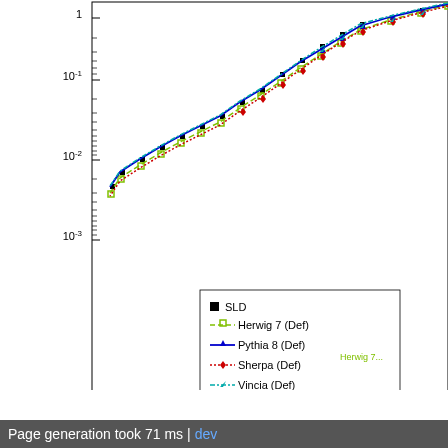[Figure (continuous-plot): Partial view of a physics plot showing Monte Carlo generator comparisons (SLD data, Herwig 7 Def, Pythia 8 Def, Sherpa Def, Vincia Def) on a logarithmic y-axis scale from 10^-3 to above 1 (top panel), and a ratio-to-SLD panel below showing values from 0.5 to 2, with x-axis from 0 to beyond 0.2. Legend visible in top-right of upper panel.]
Page generation took 71 ms | dev